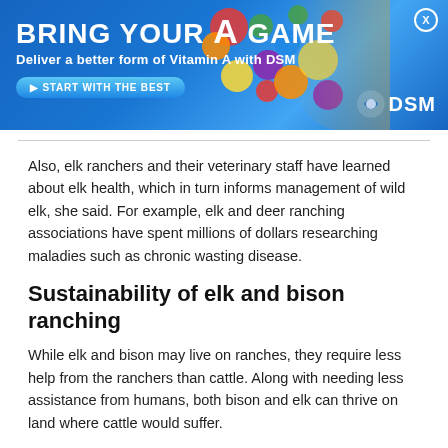[Figure (illustration): DSM advertisement banner: 'BRING YOUR A GAME - Deliver a better form of Vitamin A with DSM' with colorful vitamin pills, a golden retriever dog, and a person. Blue background with DSM logo and 'START WITH THE BEST' button.]
Also, elk ranchers and their veterinary staff have learned about elk health, which in turn informs management of wild elk, she said. For example, elk and deer ranching associations have spent millions of dollars researching maladies such as chronic wasting disease.
Sustainability of elk and bison ranching
While elk and bison may live on ranches, they require less help from the ranchers than cattle. Along with needing less assistance from humans, both bison and elk can thrive on land where cattle would suffer.
“An advantage for elk ranchers is elk can be raised on marginal land that may not otherwise be useful for farming or cattle